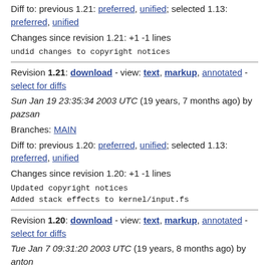Diff to: previous 1.21: preferred, unified; selected 1.13: preferred, unified
Changes since revision 1.21: +1 -1 lines
undid changes to copyright notices
Revision 1.21: download - view: text, markup, annotated - select for diffs
Sun Jan 19 23:35:34 2003 UTC (19 years, 7 months ago) by pazsan
Branches: MAIN
Diff to: previous 1.20: preferred, unified; selected 1.13: preferred, unified
Changes since revision 1.20: +1 -1 lines
Updated copyright notices
Added stack effects to kernel/input.fs
Revision 1.20: download - view: text, markup, annotated - select for diffs
Tue Jan 7 09:31:20 2003 UTC (19 years, 8 months ago) by anton
Branches: MAIN
Diff to: previous 1.19: preferred, unified; selected 1.13: preferred, unified
Changes since revision 1.19: +5 -0 lines